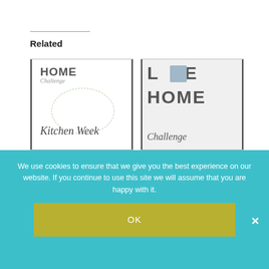Related
[Figure (illustration): Thumbnail image for 'Kitchen Week – Love Home Challenge' showing HOME Challenge text with 'Kitchen Week' in script font inside a wreath illustration]
Kitchen Week – Love Home Challenge
[Figure (illustration): Thumbnail image for 'The Love Home Challenge: Fall In Love With Your Home Again' showing LOVE HOME Challenge text with a ring photo replacing the 'O' in LOVE]
The Love Home Challenge: Fall In Love With Your Home Again
[Figure (illustration): Thumbnail image showing 'Mini-Challenge:' in green text with a sticky note style 'To Do-' list item]
We use cookies to ensure that we give you the best experience on our website. If you continue to use this site we will assume that you are happy with it.
OK